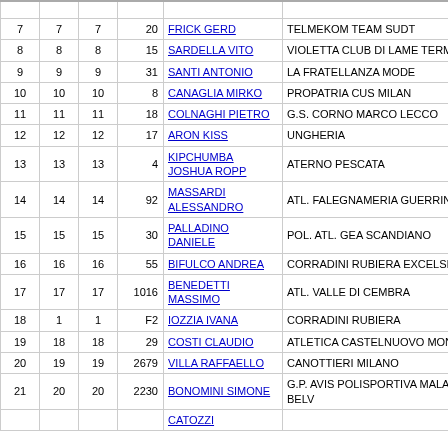| # | # | # | # | Name | Team |
| --- | --- | --- | --- | --- | --- |
| 7 | 7 | 7 | 20 | FRICK GERD | TELMEKOM TEAM SUDT |
| 8 | 8 | 8 | 15 | SARDELLA VITO | VIOLETTA CLUB DI LAME TERME |
| 9 | 9 | 9 | 31 | SANTI ANTONIO | LA FRATELLANZA MODE |
| 10 | 10 | 10 | 8 | CANAGLIA MIRKO | PROPATRIA CUS MILAN |
| 11 | 11 | 11 | 18 | COLNAGHI PIETRO | G.S. CORNO MARCO LECCO |
| 12 | 12 | 12 | 17 | ARON KISS | UNGHERIA |
| 13 | 13 | 13 | 4 | KIPCHUMBA JOSHUA ROPP | ATERNO PESCATA |
| 14 | 14 | 14 | 92 | MASSARDI ALESSANDRO | ATL. FALEGNAMERIA GUERRINI |
| 15 | 15 | 15 | 30 | PALLADINO DANIELE | POL. ATL. GEA SCANDIANO |
| 16 | 16 | 16 | 55 | BIFULCO ANDREA | CORRADINI RUBIERA EXCELSIOR |
| 17 | 17 | 17 | 1016 | BENEDETTI MASSIMO | ATL. VALLE DI CEMBRA |
| 18 | 1 | 1 | F2 | IOZZIA IVANA | CORRADINI RUBIERA |
| 19 | 18 | 18 | 29 | COSTI CLAUDIO | ATLETICA CASTELNUOVO MONTI |
| 20 | 19 | 19 | 2679 | VILLA RAFFAELLO | CANOTTIERI MILANO |
| 21 | 20 | 20 | 2230 | BONOMINI SIMONE | G.P. AVIS POLISPORTIVA MALAVICI BELV |
|  |  |  |  | CATOZZI |  |